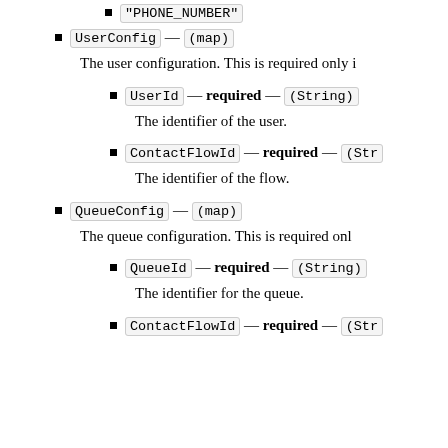"PHONE_NUMBER"
UserConfig — (map)
The user configuration. This is required only i
UserId — required — (String)
The identifier of the user.
ContactFlowId — required — (Str
The identifier of the flow.
QueueConfig — (map)
The queue configuration. This is required onl
QueueId — required — (String)
The identifier for the queue.
ContactFlowId — required — (Str